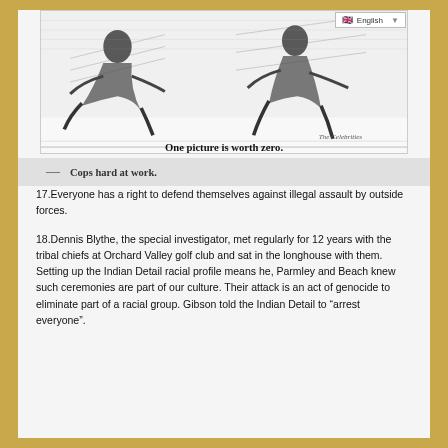[Figure (illustration): Black and white sketch illustration of figures (cops) with caption 'One picture is worth zero.' inside the image frame. A language selector bar showing English with UK flag is overlaid at top right.]
— Cops hard at work.
17.Everyone has a right to defend themselves against illegal assault by outside forces.
18.Dennis Blythe, the special investigator, met regularly for 12 years with the tribal chiefs at Orchard Valley golf club and sat in the longhouse with them. Setting up the Indian Detail racial profile means he, Parmley and Beach knew such ceremonies are part of our culture. Their attack is an act of genocide to eliminate part of a racial group. Gibson told the Indian Detail to “arrest everyone”.